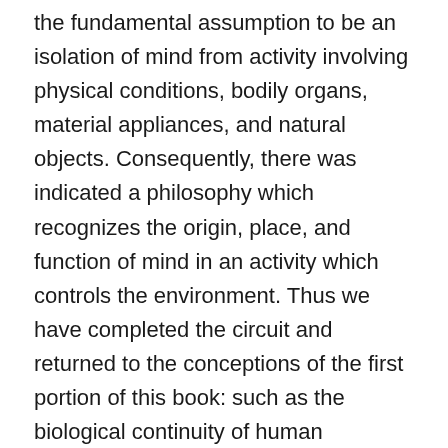the fundamental assumption to be an isolation of mind from activity involving physical conditions, bodily organs, material appliances, and natural objects. Consequently, there was indicated a philosophy which recognizes the origin, place, and function of mind in an activity which controls the environment. Thus we have completed the circuit and returned to the conceptions of the first portion of this book: such as the biological continuity of human impulses and instincts with natural energies; the dependence of the growth of mind upon participation in conjoint activities having a common purpose; the influence of the physical environment through the uses made of it in the social medium; the necessity of utilization of individual capacities in choosing and thinking of